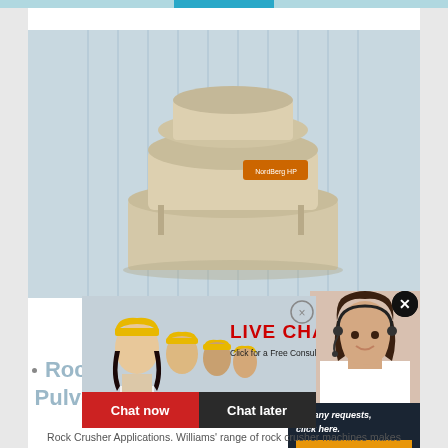[Figure (photo): Industrial rock crusher machine (cone crusher) in beige/tan color with orange brand label, photographed against a blue corrugated metal background]
[Figure (screenshot): Live chat popup overlay showing workers in yellow hard hats, 'LIVE CHAT' text in red, 'Click for a Free Consultation' subtitle, 'Chat now' red button and 'Chat later' dark button]
[Figure (photo): Customer service woman wearing headset, smiling, on dark sidebar background]
ave any requests, click here.
Quotation
Enquiry
limingjlmofen@sina.com
Rock Crusher Machine, Pulverizers | Williams C
Rock Crusher Applications. Williams' range of rock crusher machines makes them applicable across a variety of industries. From large